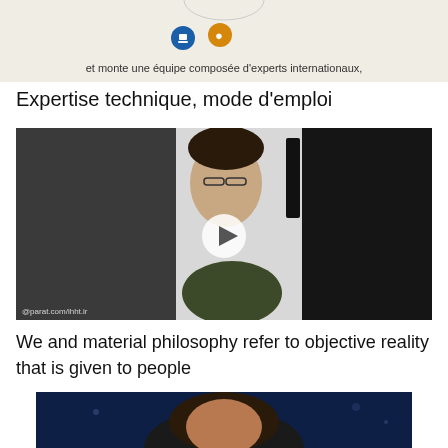[Figure (illustration): Top banner image with French text and two circular icons (blue and gold/orange) overlaid on a light background. Text reads: et monte une équipe composée d'experts internationaux,]
et monte une équipe composée d'experts internationaux,
Expertise technique, mode d'emploi
[Figure (photo): Video thumbnail showing a person's face (upside-down orientation) with dark panels on left and right sides. A play button overlay is centered. Watermark reads: @parat.com/ihht.ir]
We and material philosophy refer to objective reality that is given to people
[Figure (photo): Bottom partial image showing a person's face against a dark blue background, cropped at page edge]